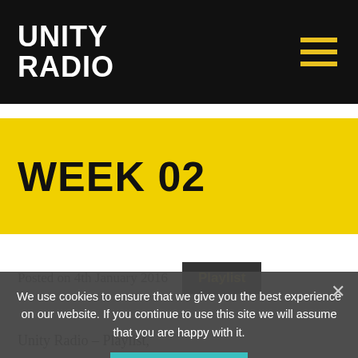UNITY RADIO
WEEK 02
Posted on 4th January 2016
Playlist
We use cookies to ensure that we give you the best experience on our website. If you continue to use this site we will assume that you are happy with it.
Ok
Unity Radio – Playlist,